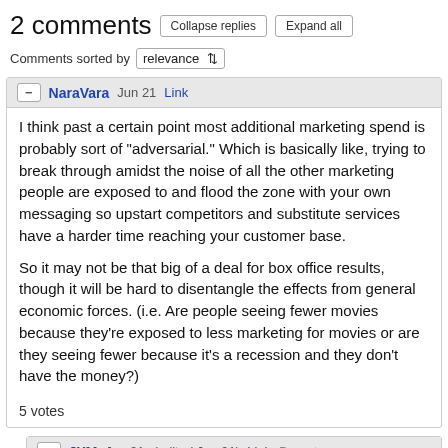2 comments
Comments sorted by relevance
NaraVara  Jun 21  Link
I think past a certain point most additional marketing spend is probably sort of "adversarial." Which is basically like, trying to break through amidst the noise of all the other marketing people are exposed to and flood the zone with your own messaging so upstart competitors and substitute services have a harder time reaching your customer base.

So it may not be that big of a deal for box office results, though it will be hard to disentangle the effects from general economic forces. (i.e. Are people seeing fewer movies because they're exposed to less marketing for movies or are they seeing fewer because it's a recession and they don't have the money?)
5 votes
JXM  Jun 21  (edited Jun 21)  Link  Parent